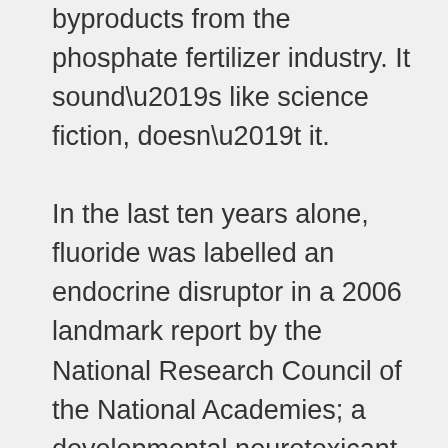byproducts from the phosphate fertilizer industry. It sound’s like science fiction, doesn’t it.
In the last ten years alone, fluoride was labelled an endocrine disruptor in a 2006 landmark report by the National Research Council of the National Academies; a developmental neurotoxicant by Grandjean and Landrigan in the Lancet Neurology in 2014; 35 more studies were published reporting a correlation between fluoride exposure and lowered IQ in children (for a total of 45 studies out of 53 published); and a correlation to